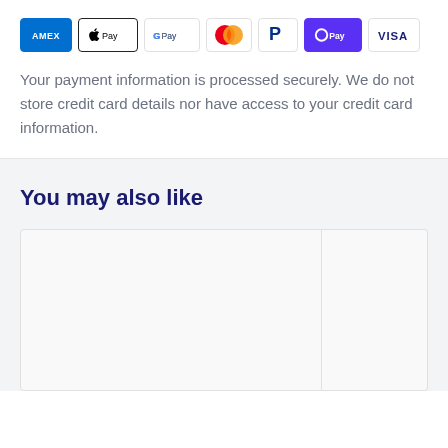[Figure (infographic): Row of payment method icons: AMEX, Apple Pay, Google Pay, Mastercard, PayPal, OPay, VISA]
Your payment information is processed securely. We do not store credit card details nor have access to your credit card information.
You may also like
[Figure (other): Two blank product card placeholders side by side in a 'You may also like' recommendation section]